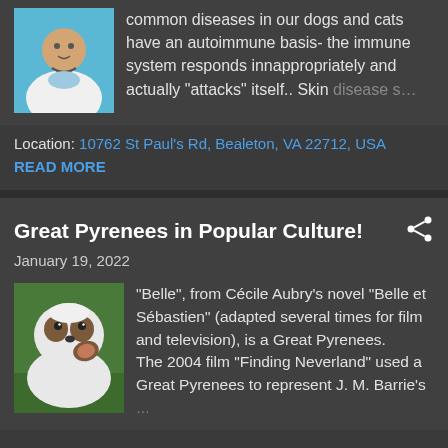common diseases in our dogs and cats have an autoimmune basis-  the immune system responds innappropriately and actually "attacks"  itself.. Skin disease s…
Location: 10762 St Paul's Rd, Bealeton, VA 22712, USA
READ MORE
Great Pyrenees in Popular Culture!
January 19, 2022
[Figure (photo): A white Great Pyrenees puppy outdoors on grass]
"Belle", from Cécile Aubry's novel "Belle et Sébastien" (adapted several times for film and television), is a Great Pyrenees.      The 2004 film "Finding Neverland" used a Great Pyrenees to represent J. M. Barrie's …